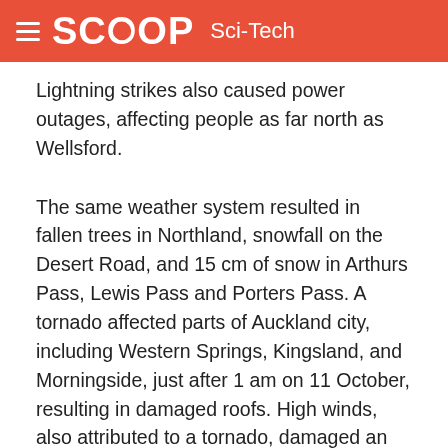SCOOP Sci-Tech
Lightning strikes also caused power outages, affecting people as far north as Wellsford.
The same weather system resulted in fallen trees in Northland, snowfall on the Desert Road, and 15 cm of snow in Arthurs Pass, Lewis Pass and Porters Pass. A tornado affected parts of Auckland city, including Western Springs, Kingsland, and Morningside, just after 1 am on 11 October, resulting in damaged roofs. High winds, also attributed to a tornado, damaged an Okoroire barn, trees, fences and power lines near Matamata on 15 October.
Fog